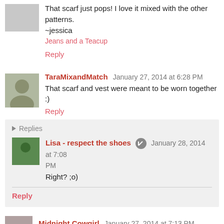That scarf just pops! I love it mixed with the other patterns.
~jessica
Jeans and a Teacup
Reply
TaraMixandMatch January 27, 2014 at 6:28 PM
That scarf and vest were meant to be worn together :)
Reply
Replies
Lisa - respect the shoes January 28, 2014 at 7:08 PM
Right? ;o)
Reply
Midnight Cowgirl January 27, 2014 at 7:13 PM